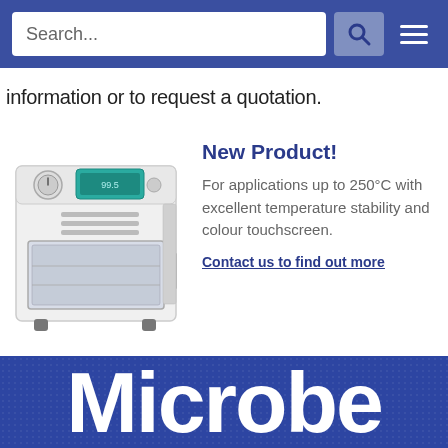Search...
information or to request a quotation.
[Figure (photo): Laboratory vacuum oven/incubator with teal digital touchscreen display and round gauge on the left side, white casing with glass door]
New Product!
For applications up to 250°C with excellent temperature stability and colour touchscreen.
Contact us to find out more
PREVIOUS
Laboratory Safety Storag...
NEXT
Introducing Ceti microsco...
Microbe